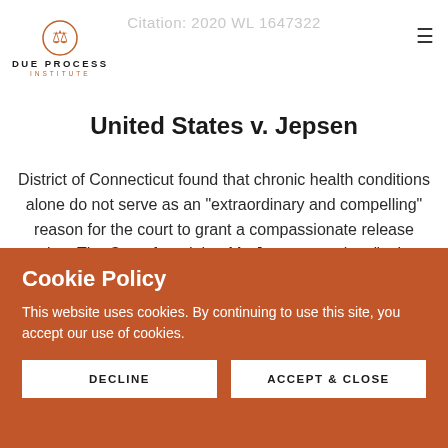Due Process Institute — navigation header with logo and hamburger menu
Citation: 2020 WL 1647322
United States v. Jepsen
District of Connecticut found that chronic health conditions alone do not serve as an "extraordinary and compelling" reason for the court to grant a compassionate release motion. The Court found that Mr. Jepsen was in a "unique position" given that he
Cookie Policy
This website uses cookies. By continuing to use this site, you accept our use of cookies.
DECLINE
ACCEPT & CLOSE